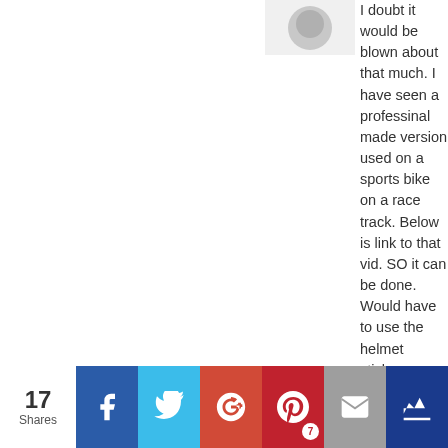[Figure (other): Grey default user avatar (partial, top portion visible)]
I doubt it would be blown about that much. I have seen a professinal made version used on a sports bike on a race track. Below is link to that vid. SO it can be done. Would have to use the helmet sticker attachment you get with your GoPro, i just can't
17 Shares — social share bar with Facebook, Twitter, Google+, Pinterest (7), Email, and a crown/bookmark button